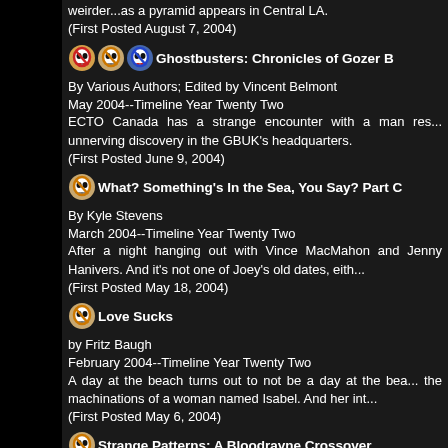weirder...as a pyramid appears in Central LA. (First Posted August 7, 2004)
Ghostbusters: Chronicles of Gozer B
By Various Authors; Edited by Vincent Belmont
May 2004--Timeline Year Twenty Two
ECTO Canada has a strange encounter with a man res... unnerving discovery in the GBUK's headquarters.
(First Posted June 9, 2004)
What? Something's In the Sea, You Say? Part C
By Kyle Stevens
March 2004--Timeline Year Twenty Two
After a night hanging out with Vince MacMahon and Jenny Hanivers. And it's not one of Joey's old dates, eith...
(First Posted May 18, 2004)
Love Sucks
by Fritz Baugh
February 2004--Timeline Year Twenty Two
A day at the beach turns out to not be a day at the bea... the machinations of a woman named Isabel. And her int...
(First Posted May 6, 2004)
Strange Patterns: A Bloodrayne Crossover
by Kyle Stevens
January 2004--Timeline Year Twenty Two